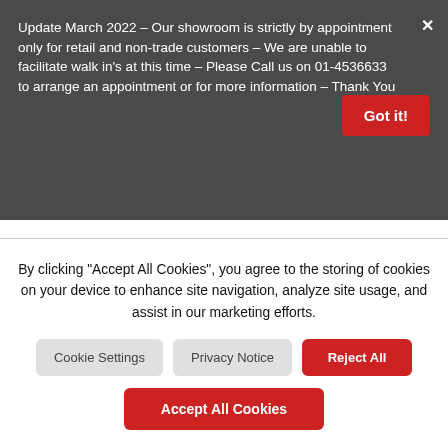Update March 2022 – Our showroom is strictly by appointment only for retail and non-trade customers – We are unable to facilitate walk in's at this time – Please Call us on 01-4536633 to arrange an appointment or for more information – Thank You
SHARE
Category: Glass Fittings
By clicking "Accept All Cookies", you agree to the storing of cookies on your device to enhance site navigation, analyze site usage, and assist in our marketing efforts.